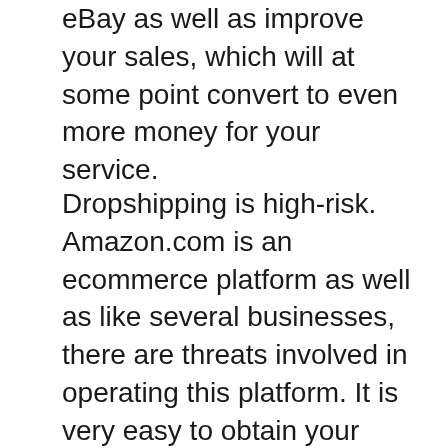eBay as well as improve your sales, which will at some point convert to even more money for your service.
Dropshipping is high-risk. Amazon.com is an ecommerce platform as well as like several businesses, there are threats involved in operating this platform. It is very easy to obtain your account outlawed from selling on Amazon if the firm spots that you are selling phony goods. If you operate a dropshipping organization making use of Amazon as your platform, it is important that you understand the standards and also follow them very closely. Make sure to ask your dropshipper about these threats and also do not be reluctant to contact them should you come to a conclusion that you can not wage the